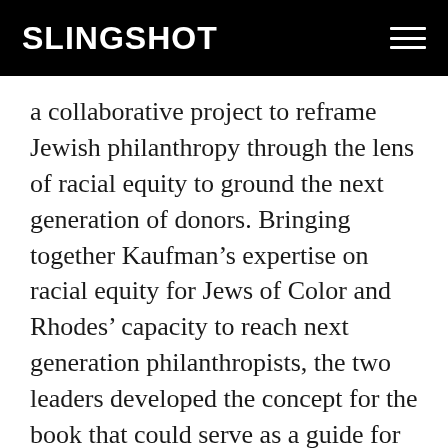SLINGSHOT
a collaborative project to reframe Jewish philanthropy through the lens of racial equity to ground the next generation of donors. Bringing together Kaufman’s expertise on racial equity for Jews of Color and Rhodes’ capacity to reach next generation philanthropists, the two leaders developed the concept for the book that could serve as a guide for up-and-coming donors. Each chapter is authored by multiracial authors involved in the JoC community and is grounded in their analysis, perspective, and life experiences.
“We want to elevate the voices and the work of